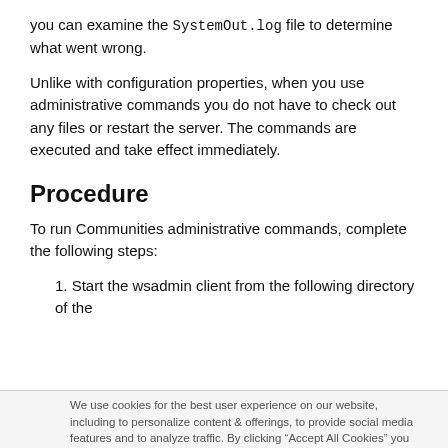you can examine the SystemOut.log file to determine what went wrong.
Unlike with configuration properties, when you use administrative commands you do not have to check out any files or restart the server. The commands are executed and take effect immediately.
Procedure
To run Communities administrative commands, complete the following steps:
1. Start the wsadmin client from the following directory of the
We use cookies for the best user experience on our website, including to personalize content & offerings, to provide social media features and to analyze traffic. By clicking "Accept All Cookies" you agree to our use of cookies. You can also manage your cookies by clicking on the "Cookie Preferences" and selecting the categories you would like to accept. For more information on how we use cookies please visit our Cookie Statement and Privacy Statement